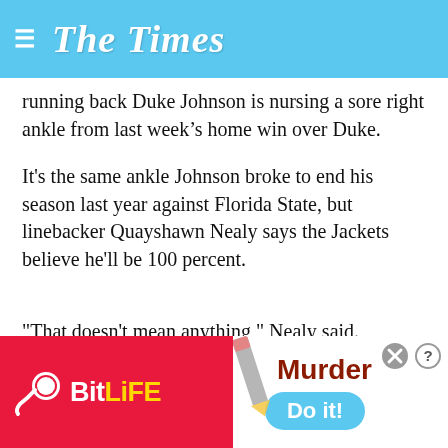The Times
running back Duke Johnson is nursing a sore right ankle from last week’s home win over Duke.
It's the same ankle Johnson broke to end his season last year against Florida State, but linebacker Quayshawn Nealy says the Jackets believe he'll be 100 percent.
"That doesn't mean anything," Nealy said. "They're trying to do everything possible to get him back together. I'm pretty sure he's going to be game ready and get all the treatment he needs. That ankle's not going to bother him. He's still going to be Duke Johnson."
[Figure (advertisement): BitLife and Murder Do it! advertisement banner at the bottom of the page]